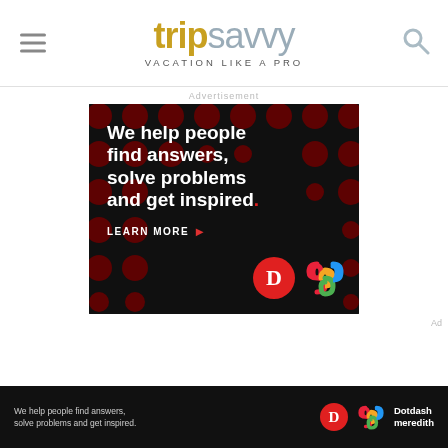tripsavvy VACATION LIKE A PRO
Advertisement
[Figure (screenshot): Black advertisement banner with dark red polka-dot pattern background. Large white bold text reads: 'We help people find answers, solve problems and get inspired.' with a red period. Below, 'LEARN MORE' with red arrow. Dotdash 'D' logo in red circle and colorful Meredith knot logo shown at bottom right.]
Ad
[Figure (screenshot): Narrow black bottom banner ad repeating: 'We help people find answers, solve problems and get inspired.' with Dotdash D logo, colorful Meredith knot logo, and 'Dotdash meredith' text in white.]